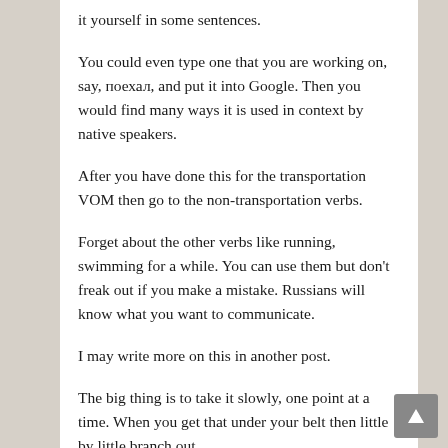it yourself in some sentences.
You could even type one that you are working on, say, поехал, and put it into Google. Then you would find many ways it is used in context by native speakers.
After you have done this for the transportation VOM then go to the non-transportation verbs.
Forget about the other verbs like running, swimming for a while. You can use them but don't freak out if you make a mistake. Russians will know what you want to communicate.
I may write more on this in another post.
The big thing is to take it slowly, one point at a time. When you get that under your belt then little by little branch out.
It is very doable.
Boris has not written on this that I am aware. He has warned me to stay away from what it written in most